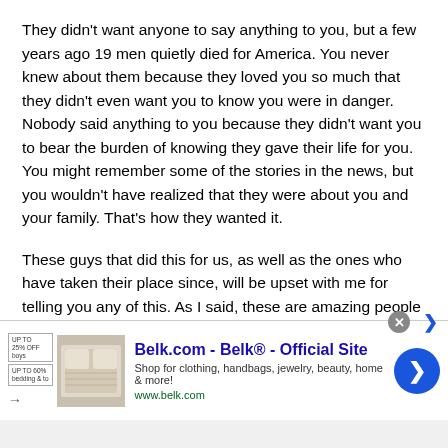They didn't want anyone to say anything to you, but a few years ago 19 men quietly died for America. You never knew about them because they loved you so much that they didn't even want you to know you were in danger. Nobody said anything to you because they didn't want you to bear the burden of knowing they gave their life for you. You might remember some of the stories in the news, but you wouldn't have realized that they were about you and your family. That's how they wanted it.
These guys that did this for us, as well as the ones who have taken their place since, will be upset with me for telling you any of this. As I said, these are amazing people who would give their life just so we didn't have to concern ourselves with matters such as these. I'm going to say
[Figure (screenshot): Advertisement banner for Belk.com showing 'Belk® - Official Site' with tagline 'Shop for clothing, handbags, jewelry, beauty, home & more!' and www.belk.com URL, with a bedding product image and blue arrow button]